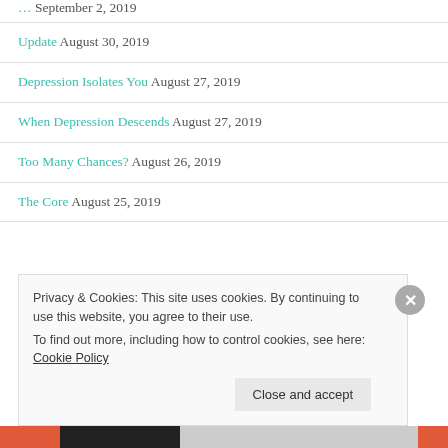Update August 30, 2019
Depression Isolates You August 27, 2019
When Depression Descends August 27, 2019
Too Many Chances? August 26, 2019
The Core August 25, 2019
Privacy & Cookies: This site uses cookies. By continuing to use this website, you agree to their use. To find out more, including how to control cookies, see here: Cookie Policy
Close and accept